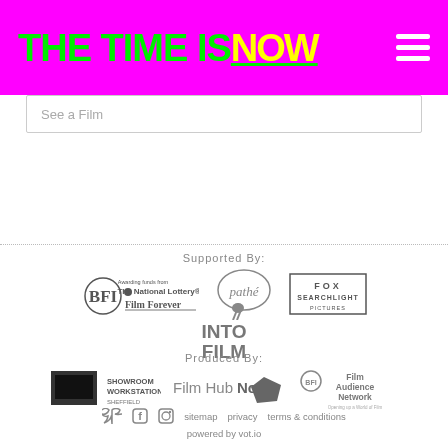THE TIME IS NOW
See a Film
Supported By:
[Figure (logo): BFI Film Forever - The National Lottery logo (grayscale)]
[Figure (logo): Pathé logo (grayscale)]
[Figure (logo): Fox Searchlight Pictures logo (grayscale)]
[Figure (logo): Into Film logo (grayscale)]
Produced By:
[Figure (logo): Showroom Workstation Sheffield logo (grayscale)]
[Figure (logo): Film Hub North logo (grayscale)]
[Figure (logo): Film Audience Network - Opening up a World of Film logo (grayscale)]
sitemap   privacy   terms & conditions   powered by vot.io